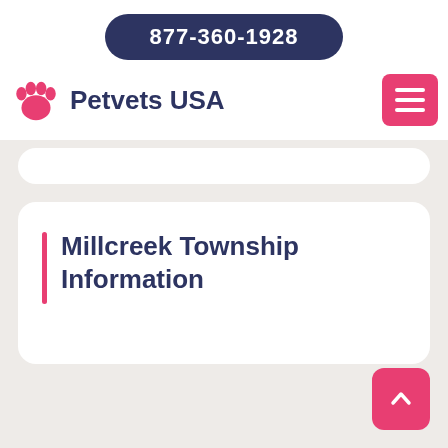877-360-1928
[Figure (logo): Petvets USA logo with pink paw print icon and dark navy text]
[Figure (other): Pink hamburger menu icon button]
Millcreek Township Information
[Figure (other): Pink back-to-top arrow button in bottom right corner]